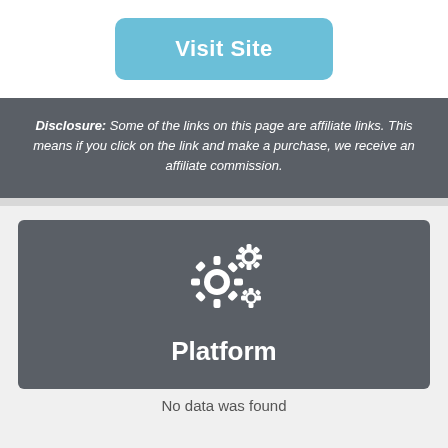Visit Site
Disclosure: Some of the links on this page are affiliate links. This means if you click on the link and make a purchase, we receive an affiliate commission.
[Figure (illustration): Gear/settings icon composed of three gear shapes in white on dark grey background]
Platform
No data was found